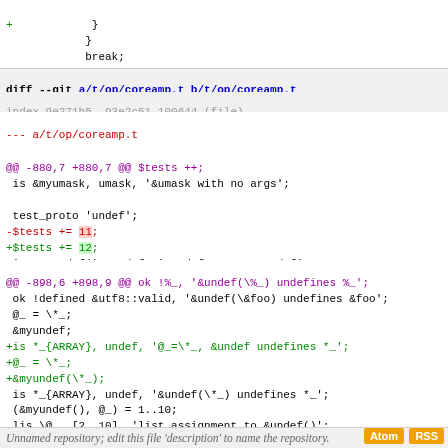code block top: +   }  }  break;  default:
diff --git a/t/op/coreamp.t b/t/op/coreamp.t
index 9e271b5..93e2c51 100644 (file)
--- a/t/op/coreamp.t
+++ b/t/op/coreamp.t
@@ -880,7 +880,7 @@ $tests ++;
 is &myumask, umask, '&umask with no args';

 test_proto 'undef';
-$tests += 11;
+$tests += 12;
 is &myundef(), undef, '&undef returns undef';
 lis [&myundef()], [undef], '&undef returns undef in list c...
 lis [&myundef(\$_)], [undef], '&undef(...) returns undef i...
@@ -898,6 +898,9 @@ ok !%_, '&undef(\%_) undefines %_';
 ok !defined &utf8::valid, '&undef(\&foo) undefines &foo';
 @_ = \*_;
 &myundef;
+is *_{ARRAY}, undef, '@_=\*_, &undef undefines *_';
+@_ = \*_;
+&myundef(\*_);
 is *_{ARRAY}, undef, '&undef(\*_) undefines *_';
 (&myundef(), @_) = 1..10;
 lis \@_, [2..10], 'list assignment to &undef()';
Unnamed repository; edit this file 'description' to name the repository.